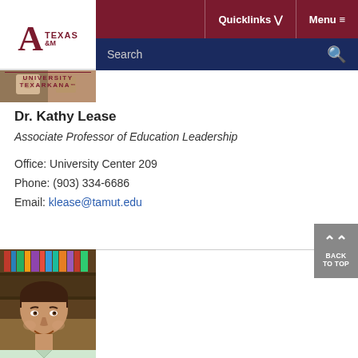[Figure (logo): Texas A&M University Texarkana logo]
Quicklinks ▼   Menu ≡
Search
[Figure (photo): Small profile photo strip at top]
Dr. Kathy Lease
Associate Professor of Education Leadership
Office: University Center 209
Phone: (903) 334-6686
Email: klease@tamut.edu
[Figure (photo): Photo of a man with brown hair, smiling, in front of bookshelves]